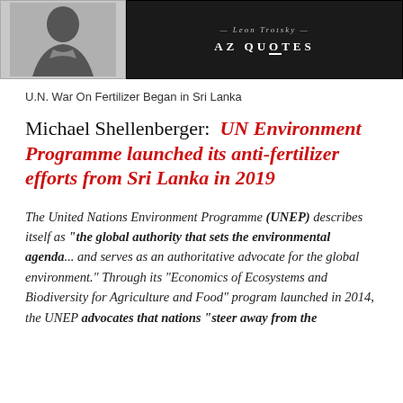[Figure (photo): Black and white photo of a man on the left side, and a dark panel on the right showing a dash, italic attribution text '— Leon Trotsky —', and 'AZ QUOTES' in white bold letters on dark background.]
U.N. War On Fertilizer Began in Sri Lanka
Michael Shellenberger: UN Environment Programme launched its anti-fertilizer efforts from Sri Lanka in 2019
The United Nations Environment Programme (UNEP) describes itself as "the global authority that sets the environmental agenda"... and serves as an authoritative advocate for the global environment." Through its "Economics of Ecosystems and Biodiversity for Agriculture and Food" program launched in 2014, the UNEP advocates that nations "steer away from the